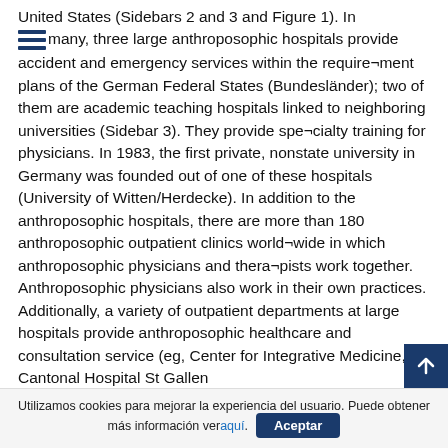United States (Sidebars 2 and 3 and Figure 1). In Germany, three large anthroposophic hospitals provide accident and emergency services within the requirement plans of the German Federal States (Bundesländer); two of them are academic teaching hospitals linked to neighboring universities (Sidebar 3). They provide specialty training for physicians. In 1983, the first private, nonstate university in Germany was founded out of one of these hospitals (University of Witten/Herdecke). In addition to the anthroposophic hospitals, there are more than 180 anthroposophic outpatient clinics worldwide in which anthroposophic physicians and therapists work together. Anthroposophic physicians also work in their own practices. Additionally, a variety of outpatient departments at large hospitals provide anthroposophic healthcare and consultation service (eg, Center for Integrative Medicine, Cantonal Hospital St Gallen
Utilizamos cookies para mejorar la experiencia del usuario. Puede obtener más información ver aquí. Aceptar